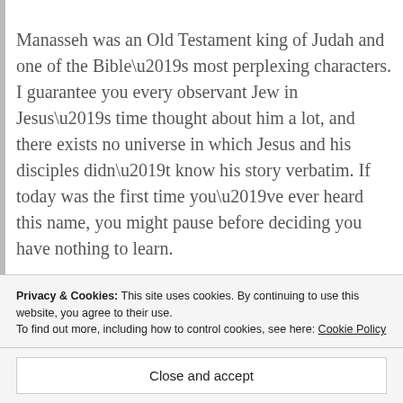Manasseh was an Old Testament king of Judah and one of the Bible’s most perplexing characters. I guarantee you every observant Jew in Jesus’s time thought about him a lot, and there exists no universe in which Jesus and his disciples didn’t know his story verbatim. If today was the first time you’ve ever heard this name, you might pause before deciding you have nothing to learn.
In part 1, I talked at length about school buses. I made no argument other than this matters to many
Privacy & Cookies: This site uses cookies. By continuing to use this website, you agree to their use.
To find out more, including how to control cookies, see here: Cookie Policy
Close and accept
To the extent that you frame your questions about